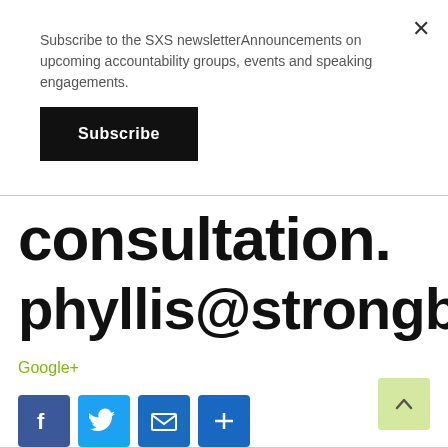×
Subscribe to the SXS newsletterAnnouncements on upcoming accountability groups, events and speaking engagements.
Subscribe
consultation.
phyllis@strongbystrand.co
Google+
[Figure (infographic): Social share icons: Facebook, Twitter, Email, and a Share/More button]
[Figure (infographic): Back to top button with upward chevron arrow, light green background]